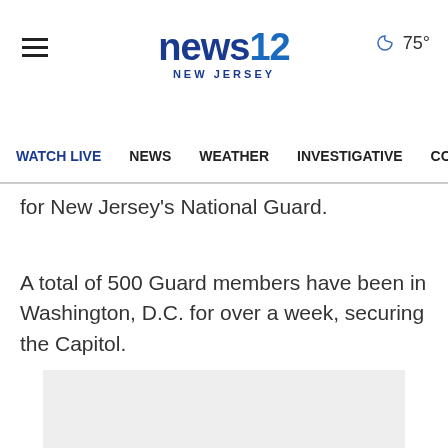news12 NEW JERSEY
WATCH LIVE  NEWS  WEATHER  INVESTIGATIVE  CO
for New Jersey's National Guard.
A total of 500 Guard members have been in Washington, D.C. for over a week, securing the Capitol.
[Figure (other): Gray advertisement placeholder box]